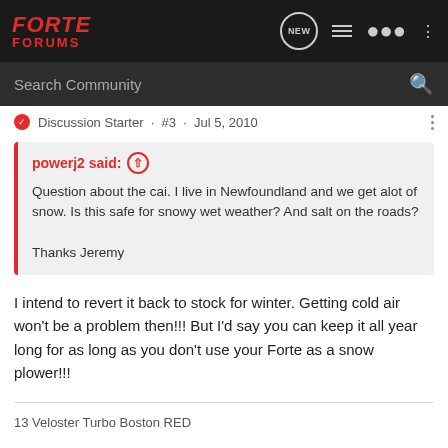FORTE FORUMS
Search Community
Discussion Starter · #3 · Jul 5, 2010
powerj2 said: ↑
Question about the cai. I live in Newfoundland and we get alot of snow. Is this safe for snowy wet weather? And salt on the roads?

Thanks Jeremy
I intend to revert it back to stock for winter. Getting cold air won't be a problem then!!! But I'd say you can keep it all year long for as long as you don't use your Forte as a snow plower!!!
13 Veloster Turbo Boston RED